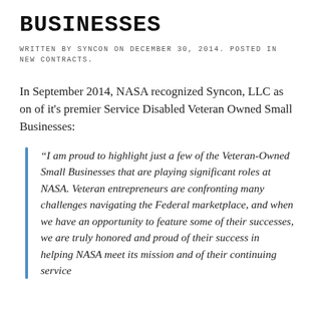BUSINESSES
WRITTEN BY SYNCON ON DECEMBER 30, 2014. POSTED IN NEW CONTRACTS.
In September 2014, NASA recognized Syncon, LLC as on of it's premier Service Disabled Veteran Owned Small Businesses:
“I am proud to highlight just a few of the Veteran-Owned Small Businesses that are playing significant roles at NASA. Veteran entrepreneurs are confronting many challenges navigating the Federal marketplace, and when we have an opportunity to feature some of their successes, we are truly honored and proud of their success in helping NASA meet its mission and of their continuing service